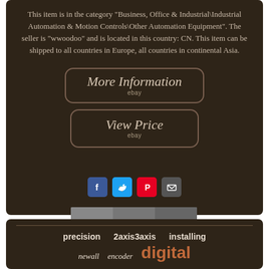This item is in the category "Business, Office & Industrial\Industrial Automation & Motion Controls\Other Automation Equipment". The seller is "wwoodoo" and is located in this country: CN. This item can be shipped to all countries in Europe, all countries in continental Asia.
[Figure (other): More Information button with eBay logo]
[Figure (other): View Price button with eBay logo]
[Figure (other): Social sharing icons: Facebook, Twitter, Pinterest, Email]
[Figure (photo): Partial product image strip]
precision  2axis3axis  installing
newall  encoder  digital